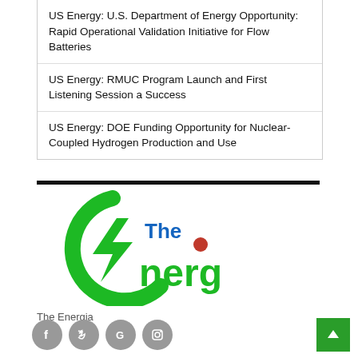US Energy: U.S. Department of Energy Opportunity: Rapid Operational Validation Initiative for Flow Batteries
US Energy: RMUC Program Launch and First Listening Session a Success
US Energy: DOE Funding Opportunity for Nuclear-Coupled Hydrogen Production and Use
[Figure (logo): The Energia logo — green circular lightning bolt icon with 'The Energia' text in blue and green]
The Energia
[Figure (infographic): Social media icons: Facebook, Twitter, Google, Instagram (grey circles) and a green scroll-to-top button]